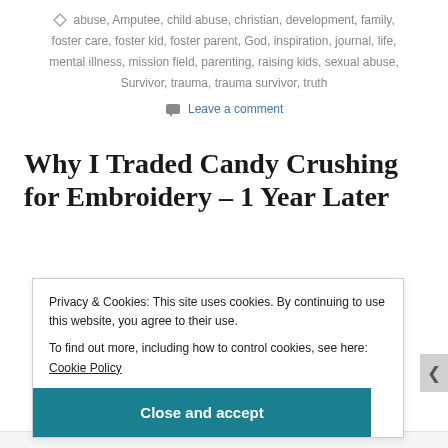abuse, Amputee, child abuse, christian, development, family, foster care, foster kid, foster parent, God, inspiration, journal, life, mental illness, mission field, parenting, raising kids, sexual abuse, Survivor, trauma, trauma survivor, truth
Leave a comment
Why I Traded Candy Crushing for Embroidery – 1 Year Later
Privacy & Cookies: This site uses cookies. By continuing to use this website, you agree to their use.
To find out more, including how to control cookies, see here: Cookie Policy
Close and accept